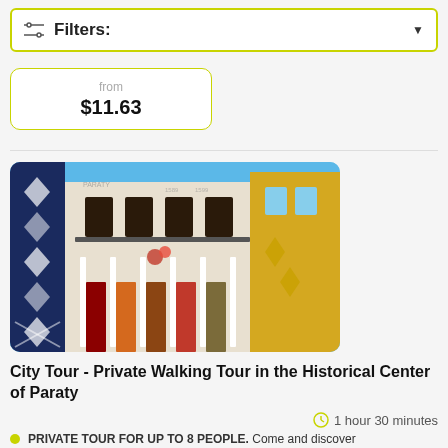Filters:
from $11.63
[Figure (photo): Photograph of colorful colonial buildings in the historical center of Paraty, Brazil, showing blue sky and decorative facades]
City Tour - Private Walking Tour in the Historical Center of Paraty
1 hour 30 minutes
PRIVATE TOUR FOR UP TO 8 PEOPLE. Come and discover